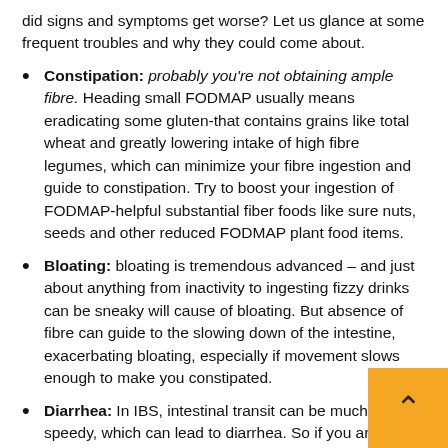did signs and symptoms get worse? Let us glance at some frequent troubles and why they could come about.
Constipation: probably you're not obtaining ample fibre. Heading small FODMAP usually means eradicating some gluten-that contains grains like total wheat and greatly lowering intake of high fibre legumes, which can minimize your fibre ingestion and guide to constipation. Try to boost your ingestion of FODMAP-helpful substantial fiber foods like sure nuts, seeds and other reduced FODMAP plant food items.
Bloating: bloating is tremendous advanced – and just about anything from inactivity to ingesting fizzy drinks can be sneaky will cause of bloating. But absence of fibre can guide to the slowing down of the intestine, exacerbating bloating, especially if movement slows enough to make you constipated.
Diarrhea: In IBS, intestinal transit can be much too speedy, which can lead to diarrhea. So if you are